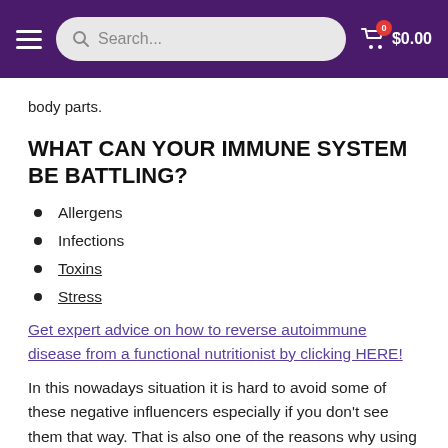Search... $0.00
body parts.
WHAT CAN YOUR IMMUNE SYSTEM BE BATTLING?
Allergens
Infections
Toxins
Stress
Get expert advice on how to reverse autoimmune disease from a functional nutritionist by clicking HERE!
In this nowadays situation it is hard to avoid some of these negative influencers especially if you don't see them that way. That is also one of the reasons why using